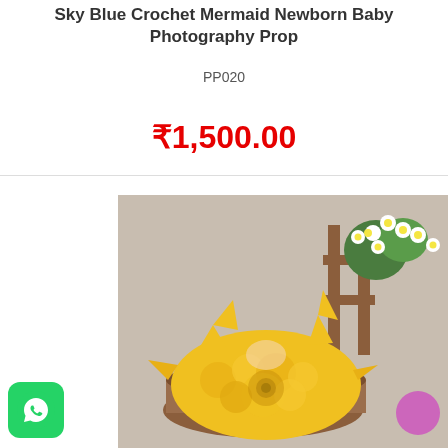Sky Blue Crochet Mermaid Newborn Baby Photography Prop
PP020
₹1,500.00
[Figure (photo): Yellow crochet mermaid tail newborn baby photography prop displayed in a wooden basket with white daisy flowers in background]